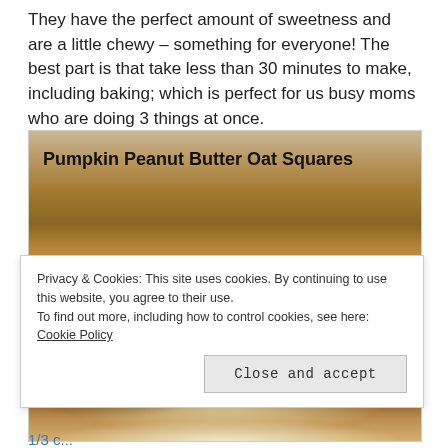They have the perfect amount of sweetness and are a little chewy – something for everyone! The best part is that take less than 30 minutes to make, including baking; which is perfect for us busy moms who are doing 3 things at once.
[Figure (photo): Photo of Pumpkin Peanut Butter Oat Squares – golden-brown oat bars with chocolate chips on a white surface, with text label 'Pumpkin Peanut Butter Oat Squares' overlaid in bold black font on the upper left of the image]
Privacy & Cookies: This site uses cookies. By continuing to use this website, you agree to their use.
To find out more, including how to control cookies, see here: Cookie Policy
Close and accept
1/3 c...